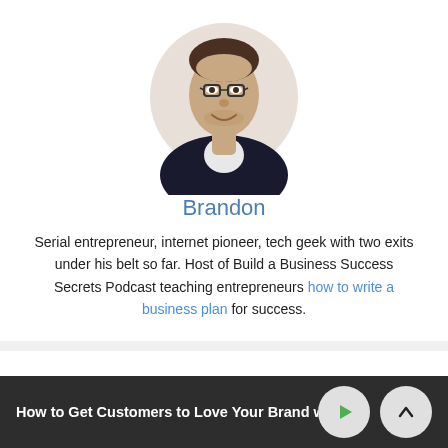[Figure (photo): Headshot photo of Brandon, a man with glasses wearing a dark jacket, smiling]
Brandon
Serial entrepreneur, internet pioneer, tech geek with two exits under his belt so far. Host of Build a Business Success Secrets Podcast teaching entrepreneurs how to write a business plan for success.
Recent Posts
How to Get Customers to Love Your Brand wit